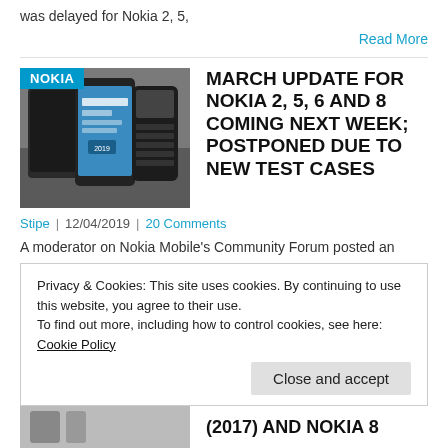was delayed for Nokia 2, 5,
Read More
[Figure (photo): Three Nokia phones side by side on a table, with a NOKIA badge overlay in the top-left corner]
MARCH UPDATE FOR NOKIA 2, 5, 6 AND 8 COMING NEXT WEEK; POSTPONED DUE TO NEW TEST CASES
Stipe  |  12/04/2019  |  20 Comments
A moderator on Nokia Mobile's Community Forum posted an update regarding the March 2019 security patch for the first generation of Nokia smartphones.
Read More
Privacy & Cookies: This site uses cookies. By continuing to use this website, you agree to their use.
To find out more, including how to control cookies, see here: Cookie Policy
Close and accept
(2017) AND NOKIA 8